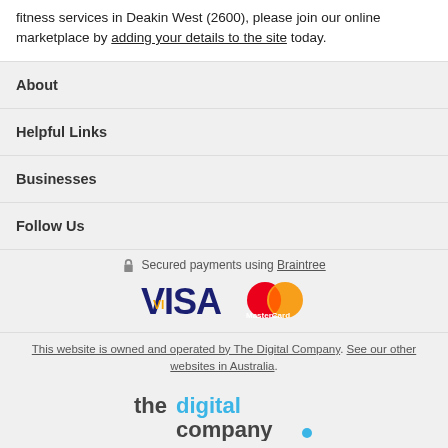fitness services in Deakin West (2600), please join our online marketplace by adding your details to the site today.
About
Helpful Links
Businesses
Follow Us
Secured payments using Braintree
[Figure (logo): VISA and MasterCard payment logos side by side]
This website is owned and operated by The Digital Company. See our other websites in Australia.
[Figure (logo): The Digital Company logo in grey and blue text]